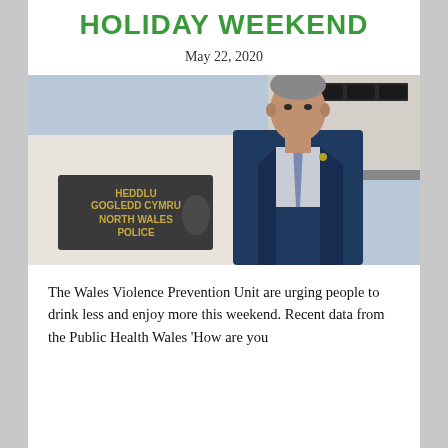HOLIDAY WEEKEND
May 22, 2020
[Figure (photo): A man in a dark blue suit and tie standing in front of a North Wales Police (Heddlu Gogledd Cymru) sign on a building exterior.]
The Wales Violence Prevention Unit are urging people to drink less and enjoy more this weekend. Recent data from the Public Health Wales 'How are you Wales?' survey…